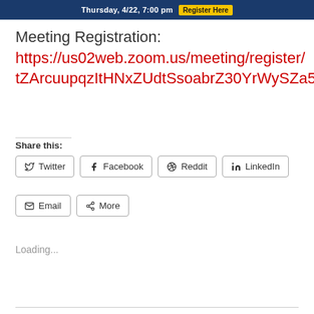[Figure (screenshot): Blue banner with text 'Thursday, 4/22, 7:00 pm' and yellow 'Register Here' button]
Meeting Registration:
https://us02web.zoom.us/meeting/register/
tZArcuupqzItHNxZUdtSsoabrZ30YrWySZa5
Share this:
Twitter  Facebook  Reddit  LinkedIn  Email  More
Loading...